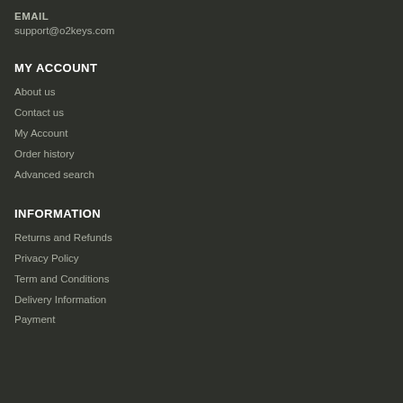EMAIL
support@o2keys.com
MY ACCOUNT
About us
Contact us
My Account
Order history
Advanced search
INFORMATION
Returns and Refunds
Privacy Policy
Term and Conditions
Delivery Information
Payment